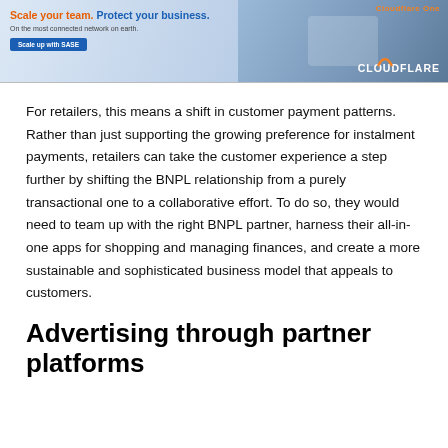[Figure (screenshot): Cloudflare One advertisement banner: 'Scale your team. Protect your business.' with 'On the most connected network on earth.' subtitle, a 'Scale up with SASE' button, and Cloudflare logo on the right with a person using a laptop and video call interface.]
For retailers, this means a shift in customer payment patterns. Rather than just supporting the growing preference for instalment payments, retailers can take the customer experience a step further by shifting the BNPL relationship from a purely transactional one to a collaborative effort. To do so, they would need to team up with the right BNPL partner, harness their all-in-one apps for shopping and managing finances, and create a more sustainable and sophisticated business model that appeals to customers.
Advertising through partner platforms